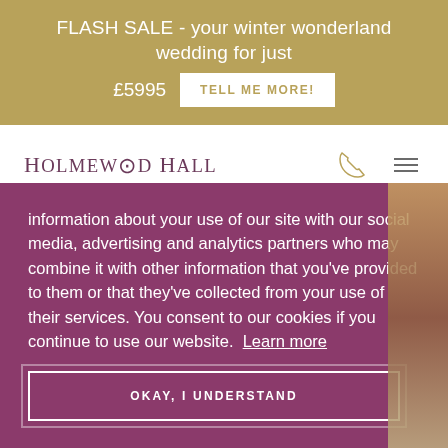FLASH SALE - your winter wonderland wedding for just £5995  TELL ME MORE!
HOLMEWOOD HALL
information about your use of our site with our social media, advertising and analytics partners who may combine it with other information that you've provided to them or that they've collected from your use of their services. You consent to our cookies if you continue to use our website. Learn more
OKAY, I UNDERSTAND